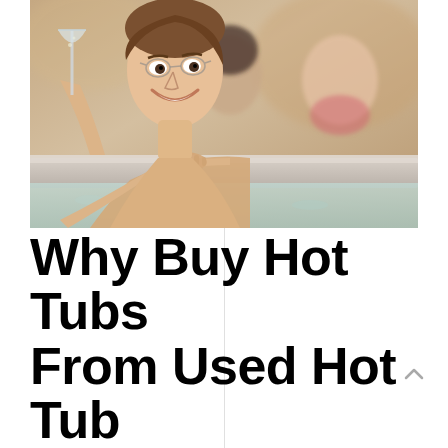[Figure (photo): Three people relaxing in a hot tub, smiling. The person in the foreground is holding a champagne glass and leaning on the edge of the tub. Two other people are visible in the background.]
Why Buy Hot Tubs From Used Hot Tub